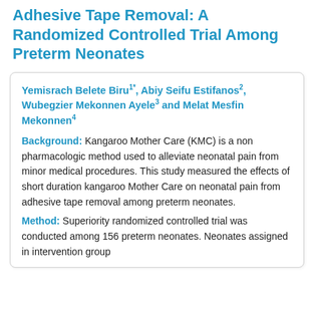Adhesive Tape Removal: A Randomized Controlled Trial Among Preterm Neonates
Yemisrach Belete Biru1*, Abiy Seifu Estifanos2, Wubegzier Mekonnen Ayele3 and Melat Mesfin Mekonnen4
Background: Kangaroo Mother Care (KMC) is a non pharmacologic method used to alleviate neonatal pain from minor medical procedures. This study measured the effects of short duration kangaroo Mother Care on neonatal pain from adhesive tape removal among preterm neonates.
Method: Superiority randomized controlled trial was conducted among 156 preterm neonates. Neonates assigned in intervention group...